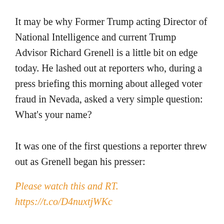It may be why Former Trump acting Director of National Intelligence and current Trump Advisor Richard Grenell is a little bit on edge today. He lashed out at reporters who, during a press briefing this morning about alleged voter fraud in Nevada, asked a very simple question: What’s your name?
It was one of the first questions a reporter threw out as Grenell began his presser:
Please watch this and RT. https://t.co/D4nuxtjWKc